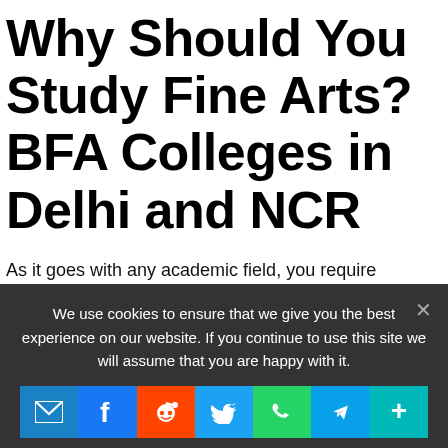Why Should You Study Fine Arts? BFA Colleges in Delhi and NCR
As it goes with any academic field, you require deciding if a certain degree is good for you. The degree you choose should be in accordance with your interests and must have the potential to shape your future for the good. Everybody has different opinions for different degrees. Therefore, it is wise to take guidance [...]
We use cookies to ensure that we give you the best experience on our website. If you continue to use this site we will assume that you are happy with it.
[Figure (infographic): Social share icons row: email (blue), Facebook (blue), Reddit (orange-red), Twitter (light blue), WhatsApp (green), Telegram (blue), More/Plus (teal)]